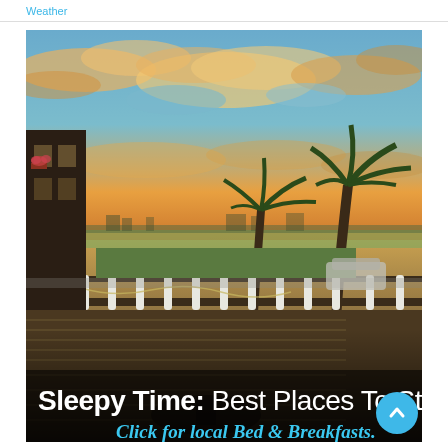Weather
[Figure (photo): A waterfront scene at sunset viewed from a deck with white railings and palm trees. The sky is dramatic with orange and golden clouds. In the foreground is a wooden deck. Overlaid text reads: 'Sleepy Time: Best Places To Stay' and 'Click for local Bed & Breakfasts.']